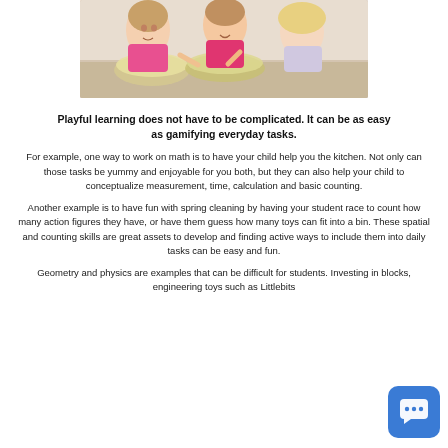[Figure (photo): Three young girls cooking/baking together in a kitchen, smiling and mixing ingredients in a bowl]
Playful learning does not have to be complicated. It can be as easy as gamifying everyday tasks.
For example, one way to work on math is to have your child help you the kitchen. Not only can those tasks be yummy and enjoyable for you both, but they can also help your child to conceptualize measurement, time, calculation and basic counting.
Another example is to have fun with spring cleaning by having your student race to count how many action figures they have, or have them guess how many toys can fit into a bin. These spatial and counting skills are great assets to develop and finding active ways to include them into daily tasks can be easy and fun.
Geometry and physics are examples that can be difficult for students. Investing in blocks, engineering toys such as Littlebits